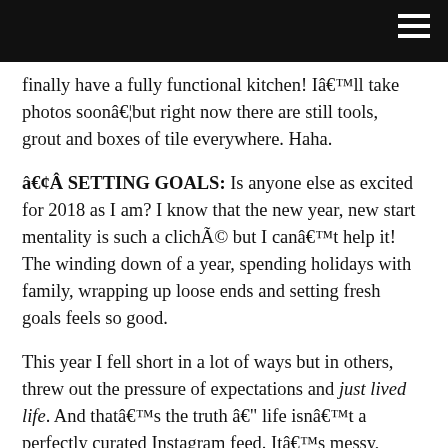[Figure (other): Black navigation bar with hamburger menu icon in top right corner]
finally have a fully functional kitchen! I'll take photos soon….but right now there are still tools, grout and boxes of tile everywhere. Haha.
• SETTING GOALS: Is anyone else as excited for 2018 as I am? I know that the new year, new start mentality is such a cliché but I can't help it! The winding down of a year, spending holidays with family, wrapping up loose ends and setting fresh goals feels so good.
This year I fell short in a lot of ways but in others, threw out the pressure of expectations and just lived life. And that's the truth – life isn't a perfectly curated Instagram feed. It's messy, unexpected, sometimes boring and up and down and everything in-between. There's so much beauty in that.
Here's to a wonderful December and I hope yours is off to a good start! –Shauna